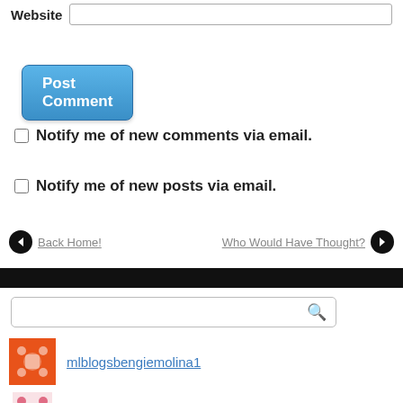Website
Post Comment
Notify me of new comments via email.
Notify me of new posts via email.
Back Home!
Who Would Have Thought?
[Figure (other): Black horizontal bar divider]
[Figure (other): Search input box with magnifying glass icon]
[Figure (other): Orange decorative avatar icon for mlblogsbengiemolina1]
mlblogsbengiemolina1
[Figure (other): Red/pink decorative avatar icon for mlblogsdiningwithdre2]
mlblogsdiningwithdre2